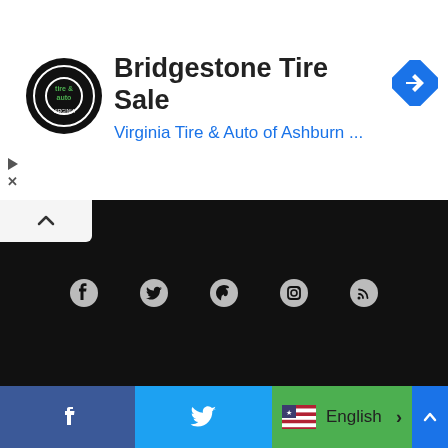[Figure (screenshot): Advertisement banner for Bridgestone Tire Sale by Virginia Tire & Auto of Ashburn, showing circular logo and navigation icon. Google ad controls (play and close) visible on left side.]
[Figure (screenshot): Dark navigation/social bar with collapse button (caret up), and social media icons: Facebook, Twitter, Pinterest, Instagram, RSS feed.]
[Figure (screenshot): Bottom share/language bar with Facebook (blue), Twitter (blue), English language selector with US flag (green background), and a blue right panel.]